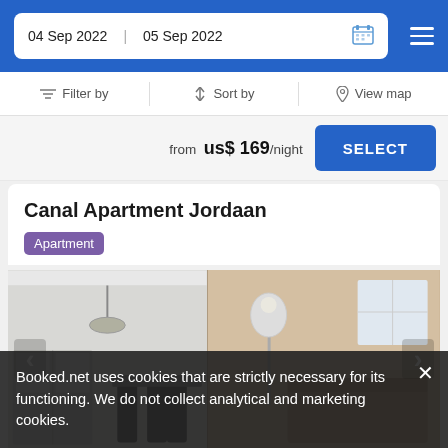04 Sep 2022  05 Sep 2022
Filter by   Sort by   View map
from us$ 169/night  SELECT
Canal Apartment Jordaan
Apartment
[Figure (photo): Interior photo of Canal Apartment Jordaan showing a dining area with pendant light on the left and a living room area with a floor lamp on the right]
Booked.net uses cookies that are strictly necessary for its functioning. We do not collect analytical and marketing cookies.